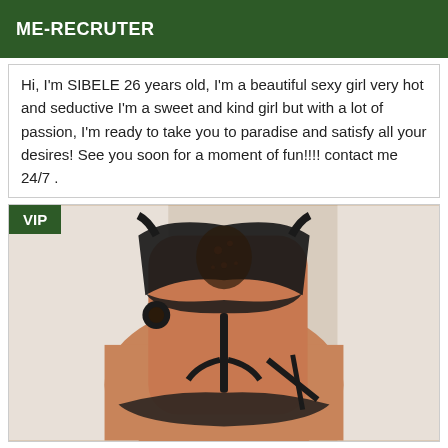ME-RECRUTER
Hi, I'm SIBELE 26 years old, I'm a beautiful sexy girl very hot and seductive I'm a sweet and kind girl but with a lot of passion, I'm ready to take you to paradise and satisfy all your desires! See you soon for a moment of fun!!!! contact me 24/7 .
[Figure (photo): VIP-badged photo showing a person wearing black lace lingerie against white bedding background]